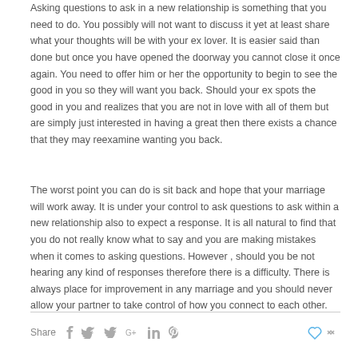Asking questions to ask in a new relationship is something that you need to do. You possibly will not want to discuss it yet at least share what your thoughts will be with your ex lover. It is easier said than done but once you have opened the doorway you cannot close it once again. You need to offer him or her the opportunity to begin to see the good in you so they will want you back. Should your ex spots the good in you and realizes that you are not in love with all of them but are simply just interested in having a great then there exists a chance that they may reexamine wanting you back.
The worst point you can do is sit back and hope that your marriage will work away. It is under your control to ask questions to ask within a new relationship also to expect a response. It is all natural to find that you do not really know what to say and you are making mistakes when it comes to asking questions. However , should you be not hearing any kind of responses therefore there is a difficulty. There is always place for improvement in any marriage and you should never allow your partner to take control of how you connect to each other.
Share